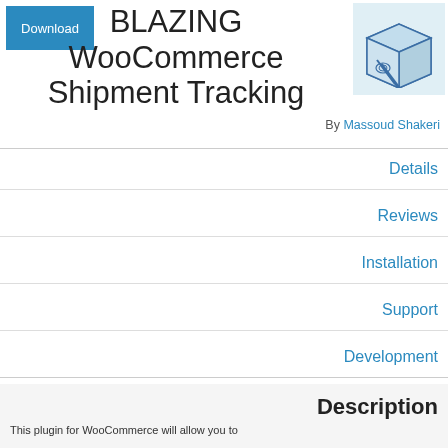[Figure (illustration): Download button (teal/blue rectangle with white text 'Download')]
BLAZING WooCommerce Shipment Tracking
[Figure (illustration): Icon of a cardboard shipping box with blue stripes and decorative lines, on a light blue background]
By Massoud Shakeri
Details
Reviews
Installation
Support
Development
Description
This plugin for WooCommerce will allow you to